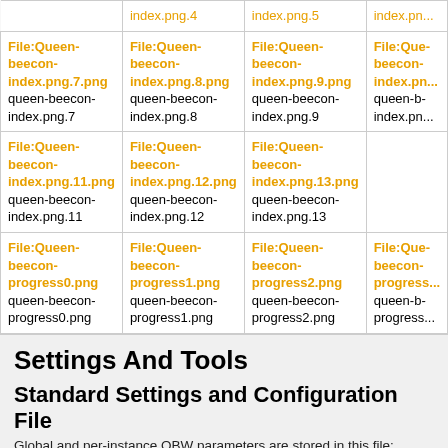| index.png.4 | index.png.5 | index.png.(partial) |
| File:Queen-beecon-index.png.7.png
queen-beecon-index.png.7 | File:Queen-beecon-index.png.8.png
queen-beecon-index.png.8 | File:Queen-beecon-index.png.9.png
queen-beecon-index.png.9 | File:Queen-beecon-index.png.(partial) |
| File:Queen-beecon-index.png.11.png
queen-beecon-index.png.11 | File:Queen-beecon-index.png.12.png
queen-beecon-index.png.12 | File:Queen-beecon-index.png.13.png
queen-beecon-index.png.13 |  |
| File:Queen-beecon-progress0.png
queen-beecon-progress0.png | File:Queen-beecon-progress1.png
queen-beecon-progress1.png | File:Queen-beecon-progress2.png
queen-beecon-progress2.png | File:Queen-beecon-progress(partial) |
Settings And Tools
Standard Settings and Configuration File
Global and per-instance QBW parameters are stored in this file: